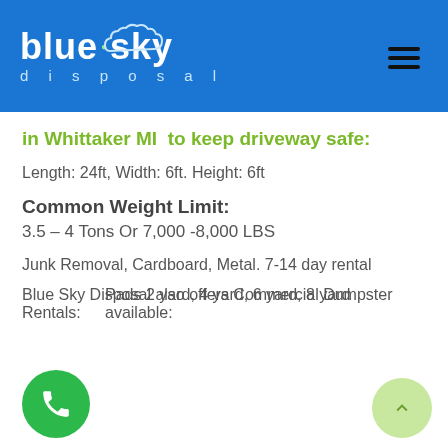[Figure (logo): Blue Sky Disposal logo in white on blue background header with hamburger menu icon]
in Whittaker MI  to keep driveway safe:
Length: 24ft, Width: 6ft. Height: 6ft
Common Weight Limit:
3.5 – 4 Tons Or 7,000 -8,000 LBS
Junk Removal, Cardboard, Metal. 7-14 day rental
Blue Sky Disposal also offers Commercial Dumpster Rentals:
Pads 2 yard, 4 yard, 6 yard, 8 yard available: